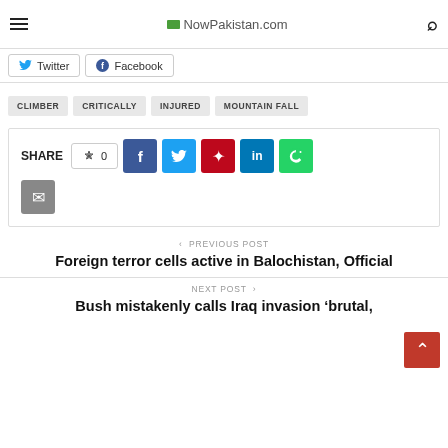NowPakistan.com
Twitter  Facebook
CLIMBER
CRITICALLY
INJURED
MOUNTAIN FALL
SHARE  0
PREVIOUS POST
Foreign terror cells active in Balochistan, Official
NEXT POST
Bush mistakenly calls Iraq invasion 'brutal,